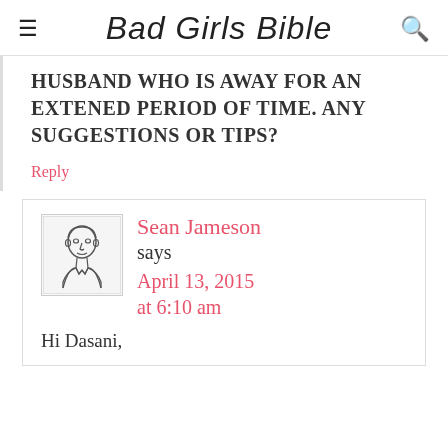Bad Girls Bible
HUSBAND WHO IS AWAY FOR AN EXTENED PERIOD OF TIME. ANY SUGGESTIONS OR TIPS?
Reply
[Figure (illustration): Line drawing portrait of a man in a collared shirt, used as commenter avatar for Sean Jameson]
Sean Jameson says April 13, 2015 at 6:10 am
Hi Dasani,